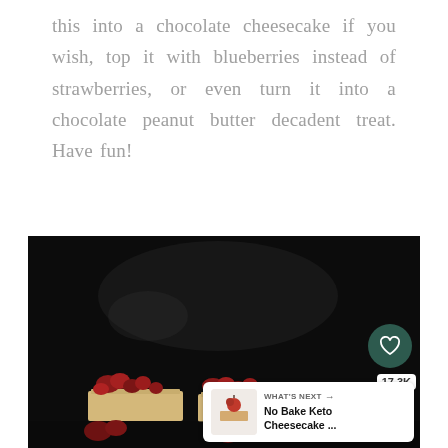this into a chocolate cheesecake if you wish, top it with blueberries instead of strawberries, or even turn it into a chocolate peanut butter decadent treat. Have fun!
[Figure (photo): Dark moody food photography showing cheesecake slices topped with red berries/strawberries on a dark background, with a heart/save button showing 17.3K saves, a share button, and a 'What's Next' card for 'No Bake Keto Cheesecake ...' in the corner]